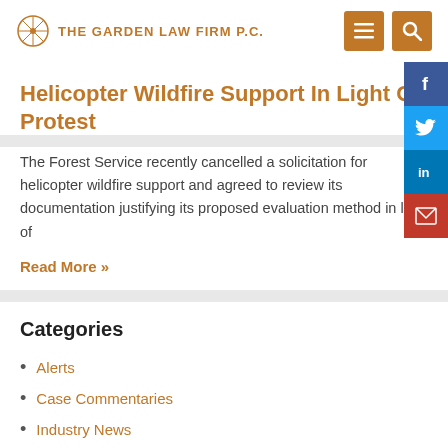THE GARDEN LAW FIRM P.C.
Helicopter Wildfire Support In Light Of Protest
The Forest Service recently cancelled a solicitation for helicopter wildfire support and agreed to review its documentation justifying its proposed evaluation method in light of
Read More »
Categories
Alerts
Case Commentaries
Industry News